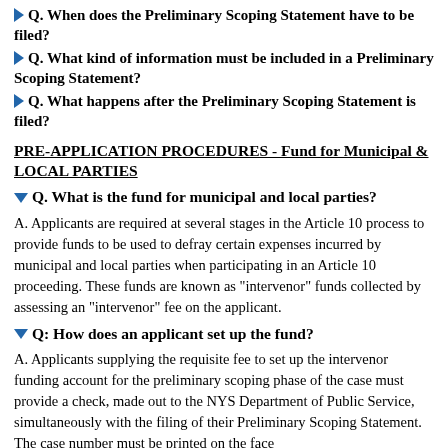Q. When does the Preliminary Scoping Statement have to be filed?
Q. What kind of information must be included in a Preliminary Scoping Statement?
Q. What happens after the Preliminary Scoping Statement is filed?
PRE-APPLICATION PROCEDURES - Fund for Municipal & LOCAL PARTIES
Q. What is the fund for municipal and local parties?
A. Applicants are required at several stages in the Article 10 process to provide funds to be used to defray certain expenses incurred by municipal and local parties when participating in an Article 10 proceeding. These funds are known as "intervenor" funds collected by assessing an "intervenor" fee on the applicant.
Q: How does an applicant set up the fund?
A. Applicants supplying the requisite fee to set up the intervenor funding account for the preliminary scoping phase of the case must provide a check, made out to the NYS Department of Public Service, simultaneously with the filing of their Preliminary Scoping Statement. The case number must be printed on the face